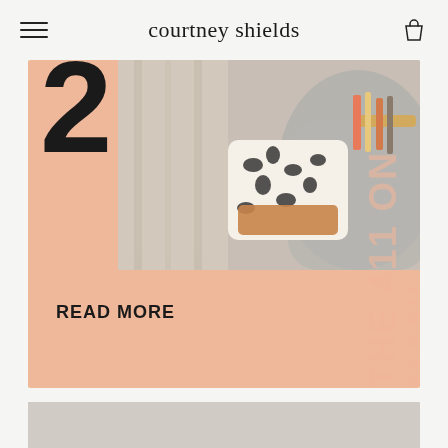courtney shields
[Figure (photo): Peach/salmon background card with large bold number '2', a photo of accessories including a leopard print bag and gold bangles/bracelets with striped ribbons, rotated text reading 'THE 411 ON MANI' in faded salmon color on right side, and a 'READ MORE' label at bottom left]
[Figure (photo): Cropped photo of a light grey sofa with brown/cognac leather/suede throw pillows and a hand with pink nail polish holding a pillow]